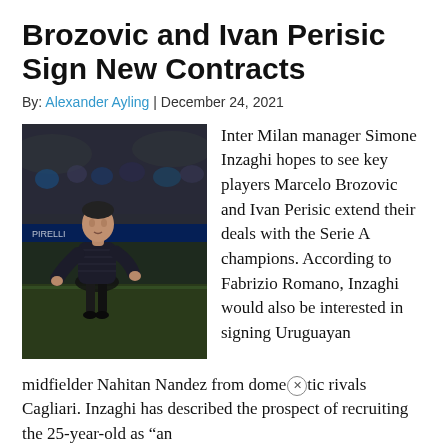Brozovic and Ivan Perisic Sign New Contracts
By: Alexander Ayling | December 24, 2021
[Figure (photo): Inter Milan manager Simone Inzaghi standing on the touchline at a night match, wearing a dark puffer jacket, stadium and players visible in background]
Inter Milan manager Simone Inzaghi hopes to see key players Marcelo Brozovic and Ivan Perisic extend their deals with the Serie A champions. According to Fabrizio Romano, Inzaghi would also be interested in signing Uruguayan midfielder Nahitan Nandez from domestic rivals Cagliari. Inzaghi has described the prospect of recruiting the 25-year-old as "an